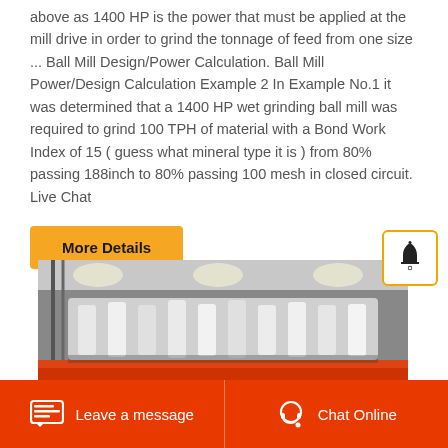above as 1400 HP is the power that must be applied at the mill drive in order to grind the tonnage of feed from one size ... Ball Mill Design/Power Calculation. Ball Mill Power/Design Calculation Example 2 In Example No.1 it was determined that a 1400 HP wet grinding ball mill was required to grind 100 TPH of material with a Bond Work Index of 15 ( guess what mineral type it is ) from 80% passing 188inch to 80% passing 100 mesh in closed circuit. Live Chat
More Details
[Figure (photo): Industrial ball mill machinery photograph showing large white mill components with red drum exterior in a factory setting.]
Leave a message   Chat Online